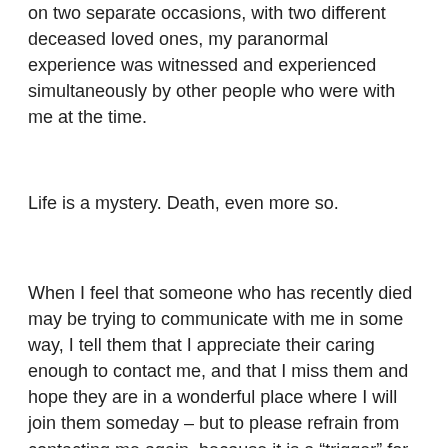on two separate occasions, with two different deceased loved ones, my paranormal experience was witnessed and experienced simultaneously by other people who were with me at the time.
Life is a mystery. Death, even more so.
When I feel that someone who has recently died may be trying to communicate with me in some way, I tell them that I appreciate their caring enough to contact me, and that I miss them and hope they are in a wonderful place where I will join them someday – but to please refrain from contacting me again, because it is a “trigger” for the schizophrenia I was diagnosed with in 1967. I have not been bothered with continual voices since 1969, and I don’t ever want to go back to